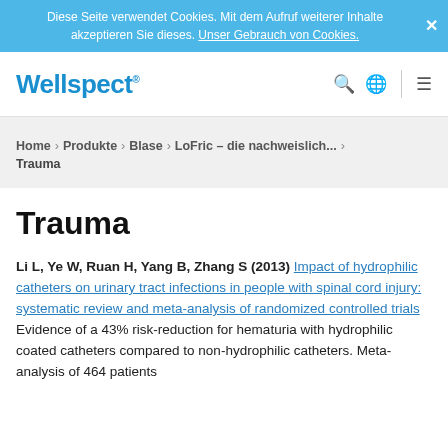Diese Seite verwendet Cookies. Mit dem Aufruf weiterer Inhalte akzeptieren Sie dieses. Unser Gebrauch von Cookies.
Wellspect
Home > Produkte > Blase > LoFric – die nachweislich... > Trauma
Trauma
Li L, Ye W, Ruan H, Yang B, Zhang S (2013) Impact of hydrophilic catheters on urinary tract infections in people with spinal cord injury: systematic review and meta-analysis of randomized controlled trials Evidence of a 43% risk-reduction for hematuria with hydrophilic coated catheters compared to non-hydrophilic catheters. Meta-analysis of 464 patients